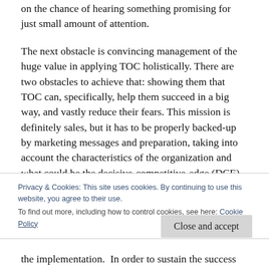on the chance of hearing something promising for just small amount of attention.
The next obstacle is convincing management of the huge value in applying TOC holistically. There are two obstacles to achieve that: showing them that TOC can, specifically, help them succeed in a big way, and vastly reduce their fears. This mission is definitely sales, but it has to be properly backed-up by marketing messages and preparation, taking into account the characteristics of the organization and what could be the decisive-competitive-edge (DCE) for such an organization.
Privacy & Cookies: This site uses cookies. By continuing to use this website, you agree to their use. To find out more, including how to control cookies, see here: Cookie Policy
the implementation.  In order to sustain the success